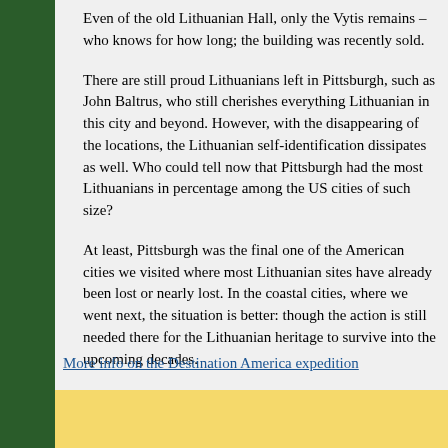Even of the old Lithuanian Hall, only the Vytis remains – who knows for how long; the building was recently sold.
There are still proud Lithuanians left in Pittsburgh, such as John Baltrus, who still cherishes everything Lithuanian in this city and beyond. However, with the disappearing of the locations, the Lithuanian self-identification dissipates as well. Who could tell now that Pittsburgh had the most Lithuanians in percentage among the US cities of such size?
At least, Pittsburgh was the final one of the American cities we visited where most Lithuanian sites have already been lost or nearly lost. In the coastal cities, where we went next, the situation is better: though the action is still needed there for the Lithuanian heritage to survive into the upcoming decades.
Augustinas Žemaitis, 2017 09 29.
More info on the Destination America expedition
[Figure (other): Yellow/golden colored advertisement or banner block at the bottom of the page]